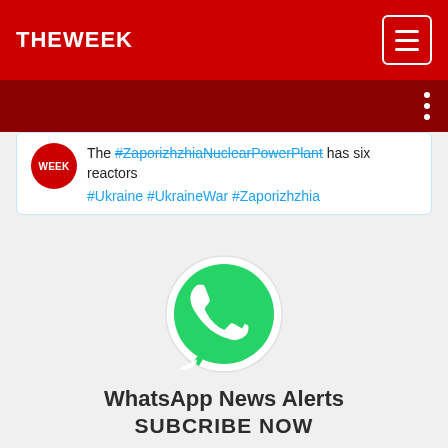THE WEEK
The #ZaporizhzhiaNuclearPowerPlant has six reactors #Ukraine #UkraineWar #Zaporizhzhia
[Figure (logo): WhatsApp logo icon — green circle with white phone handset inside a speech bubble shape]
WhatsApp News Alerts
SUBCRIBE NOW
Name
Enter Name